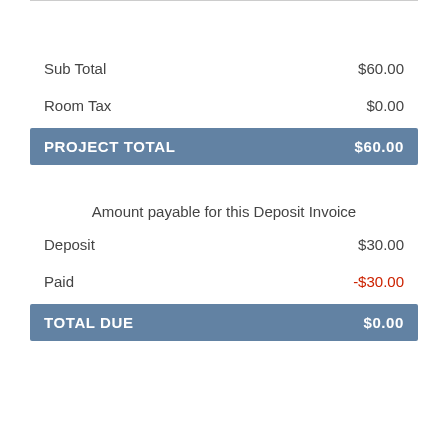| Label | Amount |
| --- | --- |
| Sub Total | $60.00 |
| Room Tax | $0.00 |
| PROJECT TOTAL | $60.00 |
| Amount payable for this Deposit Invoice |  |
| Deposit | $30.00 |
| Paid | -$30.00 |
| TOTAL DUE | $0.00 |